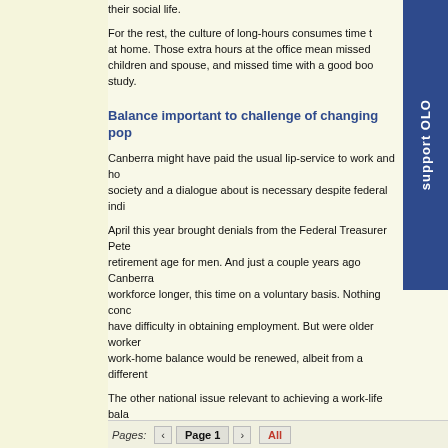their social life.
For the rest, the culture of long-hours consumes time that could be spent at home. Those extra hours at the office mean missed time with their children and spouse, and missed time with a good book, hobby or study.
Balance important to challenge of changing population
Canberra might have paid the usual lip-service to work and home-life balance in society and a dialogue about is necessary despite federal indifference.
April this year brought denials from the Federal Treasurer Peter Costello about raising retirement age for men. And just a couple years ago Canberra tried to keep people in the workforce longer, this time on a voluntary basis. Nothing concrete was done for those who have difficulty in obtaining employment. But were older workers to stay in the workforce, work-home balance would be renewed, albeit from a different perspective.
The other national issue relevant to achieving a work-life balance is fertility. Incentives to embark on parenthood will be for nought without a sustained and genuine debate on work-life balance and the associated taxation and child care issues. Encouraging population growth and harnessing the experience, knowledge and productivity of older workers.
Long unpaid hours of work are little more than a subsidy to the employer. This issue is moving up the political agenda. It is being pushed there not only by the unions but by increasingly stressed workers and their families who fear that technology will only upset an already shaky balance. In the end, and perhaps with a different government, expect the setting of maximum hours of work.
Pages: ‹ Page 1 › All